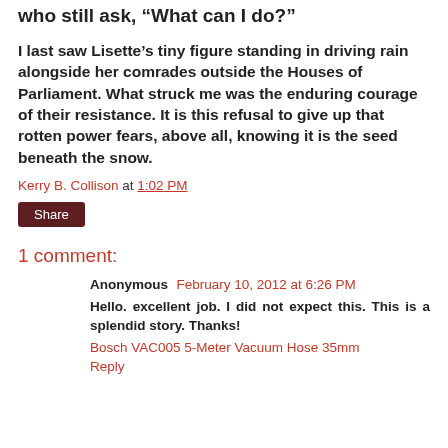who still ask, “What can I do?”
I last saw Lisette’s tiny figure standing in driving rain alongside her comrades outside the Houses of Parliament. What struck me was the enduring courage of their resistance. It is this refusal to give up that rotten power fears, above all, knowing it is the seed beneath the snow.
Kerry B. Collison at 1:02 PM
Share
1 comment:
Anonymous February 10, 2012 at 6:26 PM
Hello. excellent job. I did not expect this. This is a splendid story. Thanks!
Bosch VAC005 5-Meter Vacuum Hose 35mm
Reply